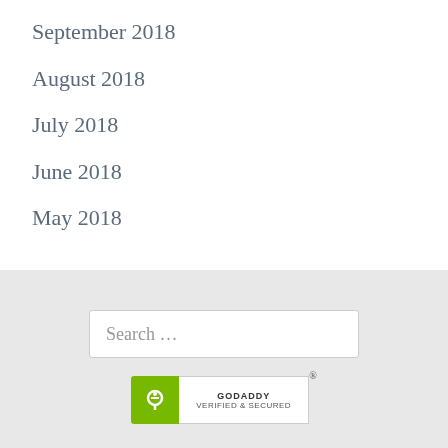September 2018
August 2018
July 2018
June 2018
May 2018
Search …
[Figure (logo): GoDaddy Verified & Secured badge with green icon and registration mark]